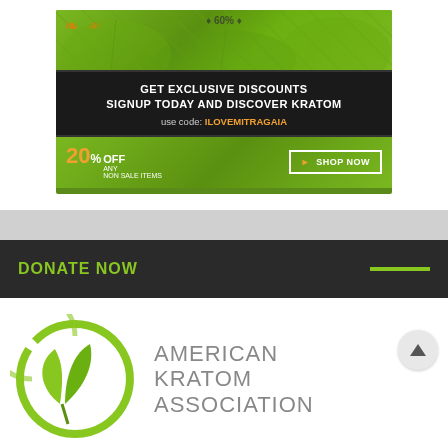[Figure (illustration): Kratom advertisement banner with green leaf background, dark bar reading GET EXCLUSIVE DISCOUNTS / SIGNUP TODAY AND DISCOVER KRATOM / use code: ILOVEMITRAGAIA, and a 20% OFF ANY NON SALE ITEMS button with SHOP NOW]
DONATE NOW
[Figure (logo): American Kratom Association logo — green circular leaf design on left, gray text AMERICAN KRATOM ASSOCIATION on right, with a green bar below reading Support the American Kratom Association]